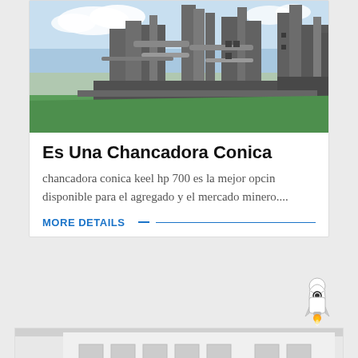[Figure (photo): Industrial plant/factory with large metal structures, pipes, and conveyor systems against a blue sky. Green ground/lawn visible at the bottom.]
Es Una Chancadora Conica
chancadora conica keel hp 700 es la mejor opcin disponible para el agregado y el mercado minero....
MORE DETAILS
[Figure (photo): Rocket/spacecraft icon illustration]
[Figure (photo): Industrial or commercial building exterior, white building with yellow machinery visible at bottom.]